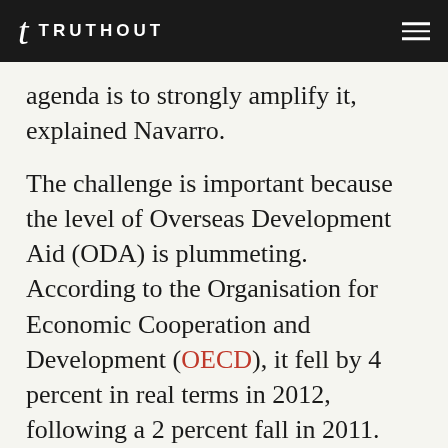TRUTHOUT
agenda is to strongly amplify it, explained Navarro.
The challenge is important because the level of Overseas Development Aid (ODA) is plummeting. According to the Organisation for Economic Cooperation and Development (OECD), it fell by 4 percent in real terms in 2012, following a 2 percent fall in 2011.
Additionally, agricultural investment in developing countries has decreased dramatically over the last decades although it has been shown